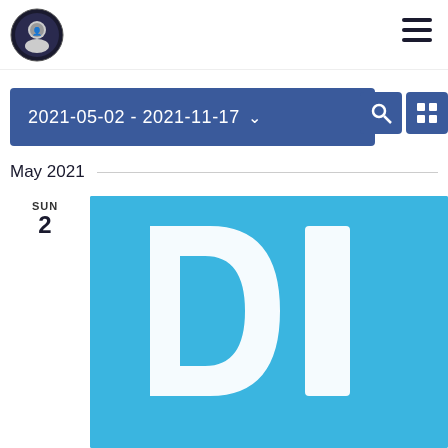Logo and navigation hamburger menu
2021-05-02 - 2021-11-17
May 2021
SUN
2
[Figure (photo): Blue image with large white letters DI on a light blue background]